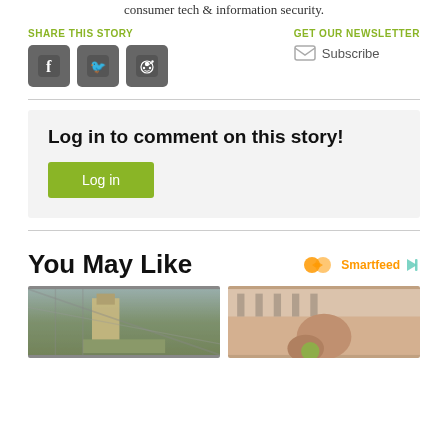consumer tech & information security.
SHARE THIS STORY
[Figure (other): Social sharing icons for Facebook, Twitter, and Reddit]
GET OUR NEWSLETTER
Subscribe
Log in to comment on this story!
Log in
You May Like
Smartfeed
[Figure (photo): Prison watchtower viewed through chain-link fence]
[Figure (photo): Person sitting near window with blinds]